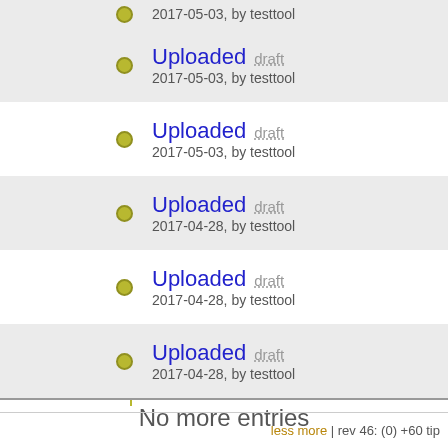Uploaded draft 2017-05-03, by testtool
Uploaded draft 2017-05-03, by testtool
Uploaded draft 2017-04-28, by testtool
Uploaded draft 2017-04-28, by testtool
Uploaded draft 2017-04-28, by testtool
Uploaded draft 2017-04-28, by testtool
Uploaded draft 2017-04-28, by testtool
Uploaded draft 2017-04-28, by testtool
Uploaded draft 2017-04-28, by testtool
No more entries
less more | rev 46: (0) +60 tip